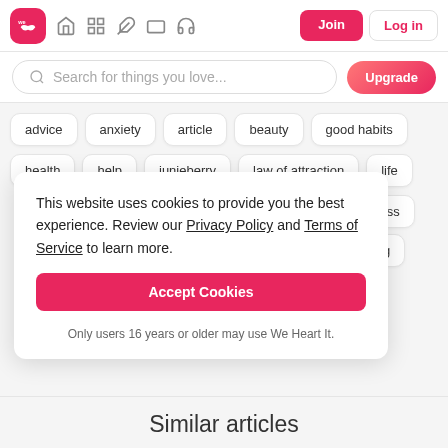We Heart It navigation bar with Join and Log in buttons
Search for things you love...
advice
anxiety
article
beauty
good habits
health
help
junieberry
law of attraction
life
stress
ell-being
This website uses cookies to provide you the best experience. Review our Privacy Policy and Terms of Service to learn more.
Accept Cookies
Only users 16 years or older may use We Heart It.
Similar articles